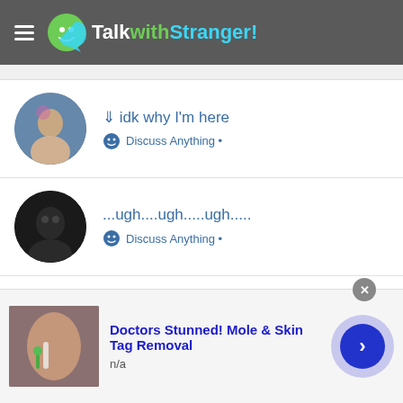TalkwithStranger!
idk why I'm here | Discuss Anything •
...ugh....ugh.....ugh..... | Discuss Anything •
THE 'WHAT TWS WAS , IS AND CAN BE' CAMPAIGN | Discuss Anything •
Let's play a game... ☺
[Figure (screenshot): Advertisement banner: Doctors Stunned! Mole & Skin Tag Removal with photo of person applying cream near nose, and a navigation arrow button]
Doctors Stunned! Mole & Skin Tag Removal
n/a